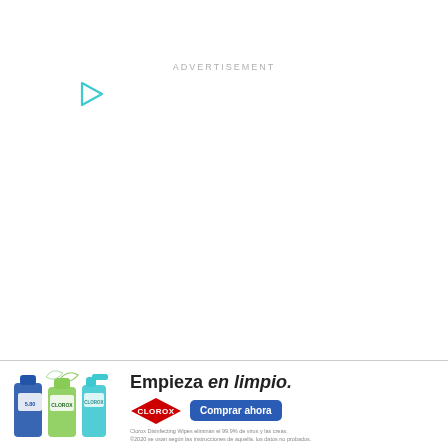ADVERTISEMENT
[Figure (illustration): Play button icon in teal/cyan color, triangle pointing right]
[Figure (infographic): Clorox advertisement banner. Shows Clorox cleaning product bottles on the left. Text reads 'Empieza en limpio.' with Clorox diamond logo and 'Comprar ahora' button in blue. Fine print: 'Clorox Disinfecting Wipes eliminan el 99.9% de virus y bacterias. ©2020 se usan segun las instrucciones de aquella. los datos no probados.']
[Figure (other): Close button (X in grey circle) at top right of ad banner]
[Figure (other): Close button (X in grey/white) at far right edge]